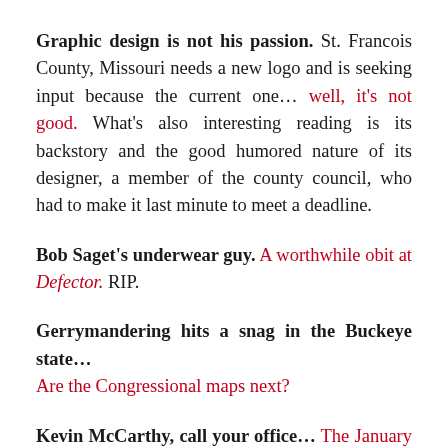Graphic design is not his passion. St. Francois County, Missouri needs a new logo and is seeking input because the current one… well, it's not good. What's also interesting reading is its backstory and the good humored nature of its designer, a member of the county council, who had to make it last minute to meet a deadline.
Bob Saget's underwear guy. A worthwhile obit at Defector. RIP.
Gerrymandering hits a snag in the Buckeye state… Are the Congressional maps next?
Kevin McCarthy, call your office… The January 6th Committee wants to talk to you.